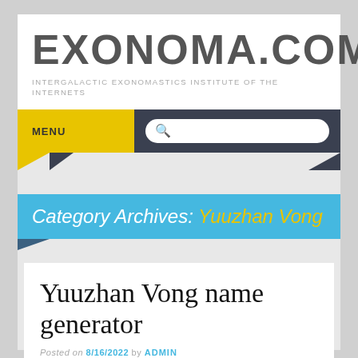EXONOMA.COM
INTERGALACTIC EXONOMASTICS INSTITUTE OF THE INTERNETS
MENU
Category Archives: Yuuzhan Vong
Yuuzhan Vong name generator
Posted on 8/16/2022 by ADMIN